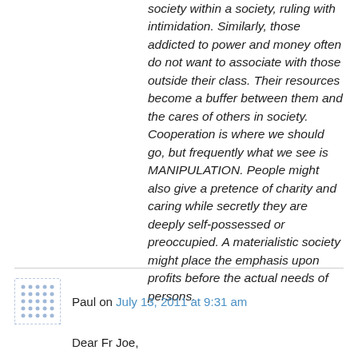society within a society, ruling with intimidation. Similarly, those addicted to power and money often do not want to associate with those outside their class. Their resources become a buffer between them and the cares of others in society. Cooperation is where we should go, but frequently what we see is MANIPULATION. People might also give a pretence of charity and caring while secretly they are deeply self-possessed or preoccupied. A materialistic society might place the emphasis upon profits before the actual needs of persons.
Paul on July 13, 2011 at 9:31 am
Dear Fr Joe,